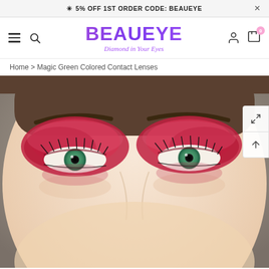✳ 5% OFF 1ST ORDER CODE: BEAUEYE
[Figure (logo): BEAUEYE logo with tagline 'Diamond in Your Eyes' in purple gradient text, with hamburger menu, search, user, and cart icons in navigation bar]
Home > Magic Green Colored Contact Lenses
[Figure (photo): Close-up photo of a woman's face with green colored contact lenses and dramatic red/crimson eyeshadow makeup. The woman has light skin, dark eyebrows, and long black eyelashes. Two eyes are prominently featured showing the green contact lenses.]